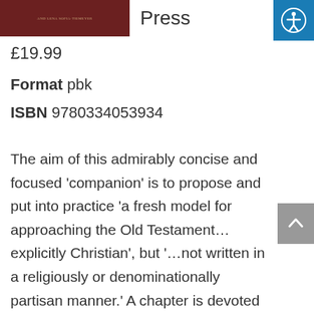[Figure (photo): Book cover image with dark red/brown background and author name text]
Press
£19.99
Format pbk
ISBN 9780334053934
The aim of this admirably concise and focused 'companion' is to propose and put into practice 'a fresh model for approaching the Old Testament... explicitly Christian', but '...not written in a religiously or denominationally partisan manner.' A chapter is devoted to each of the five divisions of the Old Testament